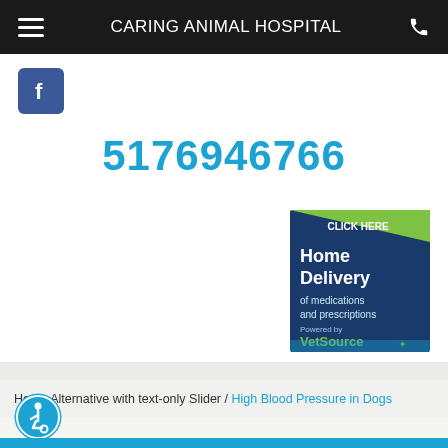CARING ANIMAL HOSPITAL
[Figure (logo): Facebook logo icon, dark blue square with white 'f']
5176946766
[Figure (illustration): Home Delivery of medications and prescriptions - Powered by VetSource. CLICK HERE banner ad.]
Home Alternative with text-only Slider / High Blood Pressure in Dogs
[Figure (logo): Accessibility icon - blue circle with wheelchair user symbol]